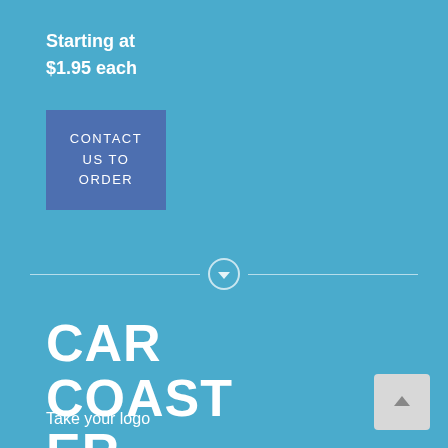Starting at
$1.95 each
[Figure (other): Blue button with text CONTACT US TO ORDER]
[Figure (other): Horizontal divider line with chevron circle in the center]
CAR COASTER
Take your logo
[Figure (other): Back to top button with upward chevron arrow]